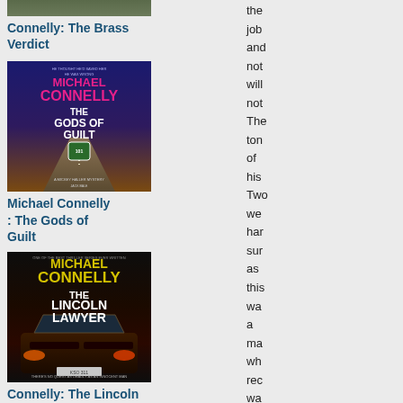[Figure (illustration): Book cover image partially visible at top, cropped]
Connelly: The Brass Verdict
[Figure (illustration): Book cover for Michael Connelly: The Gods of Guilt, showing a highway with a route 101 sign]
Michael Connelly: The Gods of Guilt
[Figure (illustration): Book cover for Michael Connelly: The Lincoln Lawyer, showing a car interior at night]
Connelly: The Lincoln Lawyer
[Figure (illustration): Book cover partially visible at bottom, cropped]
Jane
the job and not will not The ton of his Two we har sur as this wa a ma wh rec wa der